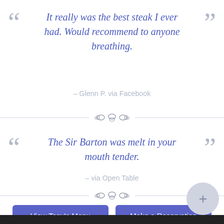It really was the best steak I ever had. Would recommend to anyone breathing.
– Glenn P. via Facebook
[Figure (illustration): Decorative ornamental divider with floral/scroll motif centered on a horizontal line]
The Sir Barton was melt in your mouth tender.
– via Open Table
[Figure (illustration): Decorative ornamental divider with floral/scroll motif centered on a horizontal line]
View Tony's Menu
Make a Reservation